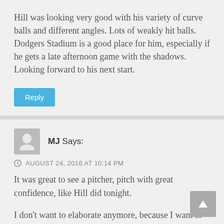Hill was looking very good with his variety of curve balls and different angles. Lots of weakly hit balls. Dodgers Stadium is a good place for him, especially if he gets a late afternoon game with the shadows. Looking forward to his next start.
Reply
MJ Says:
AUGUST 24, 2016 AT 10:14 PM
It was great to see a pitcher, pitch with great confidence, like Hill did tonight.
I don't want to elaborate anymore, because I want to wait until Hill has thrown a few more games.